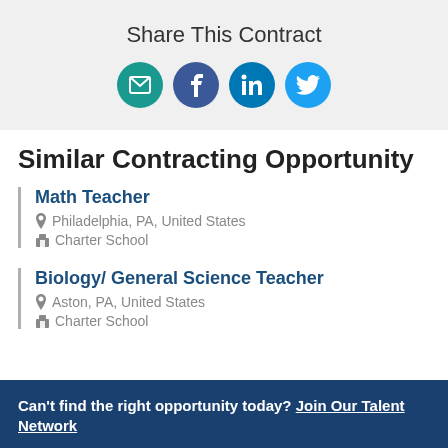Share This Contract
[Figure (infographic): Four social sharing icon circles: email (teal), Facebook (dark blue), LinkedIn (medium blue), Twitter (light blue)]
Similar Contracting Opportunity
Math Teacher
Philadelphia, PA, United States
Charter School
Biology/ General Science Teacher
Aston, PA, United States
Charter School
Can't find the right opportunity today? Join Our Talent Network